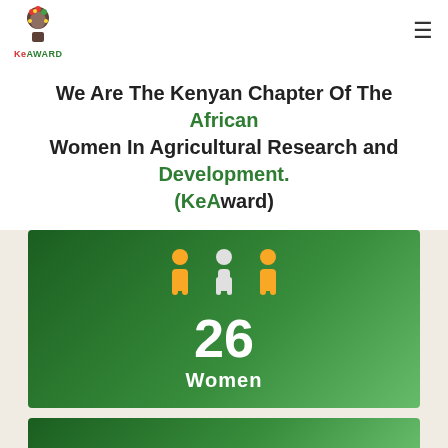KeAWARD logo and navigation menu
We Are The Kenyan Chapter Of The African Women In Agricultural Research and Development. (KeAward)
[Figure (infographic): Green gradient banner with three person icons (two yellow, one white/gray in center), large number '26' and text 'Women' below on dark green background]
[Figure (infographic): Partial green gradient banner at bottom of page, partially visible]